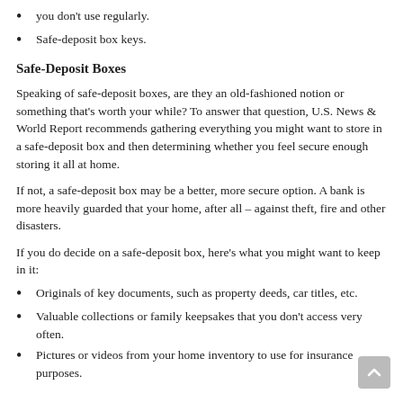you don't use regularly.
Safe-deposit box keys.
Safe-Deposit Boxes
Speaking of safe-deposit boxes, are they an old-fashioned notion or something that's worth your while? To answer that question, U.S. News & World Report recommends gathering everything you might want to store in a safe-deposit box and then determining whether you feel secure enough storing it all at home.
If not, a safe-deposit box may be a better, more secure option. A bank is more heavily guarded that your home, after all – against theft, fire and other disasters.
If you do decide on a safe-deposit box, here's what you might want to keep in it:
Originals of key documents, such as property deeds, car titles, etc.
Valuable collections or family keepsakes that you don't access very often.
Pictures or videos from your home inventory to use for insurance purposes.